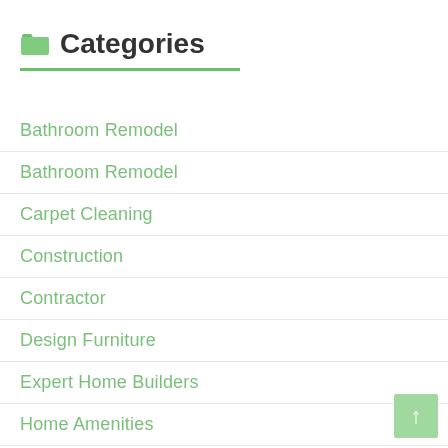Categories
Bathroom Remodel
Bathroom Remodel
Carpet Cleaning
Construction
Contractor
Design Furniture
Expert Home Builders
Home Amenities
Home Contractor
Home Decoration Ideas